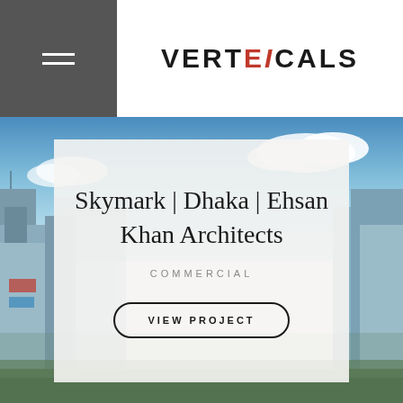VERTEIXCALS
[Figure (photo): Aerial/rooftop view of Dhaka cityscape with commercial buildings under a blue sky with white clouds]
Skymark | Dhaka | Ehsan Khan Architects
COMMERCIAL
VIEW PROJECT